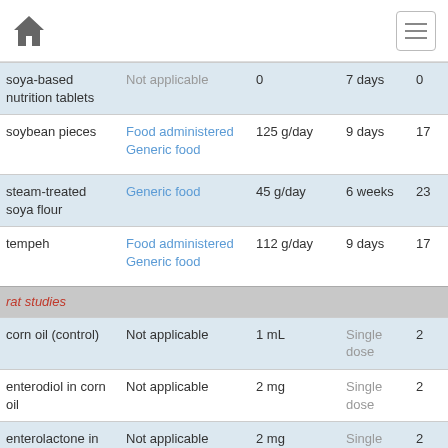Home / Menu
| soya-based nutrition tablets | Not applicable | 0 | 7 days | 0 |
| soybean pieces | Food administered Generic food | 125 g/day | 9 days | 17 |
| steam-treated soya flour | Generic food | 45 g/day | 6 weeks | 23 |
| tempeh | Food administered Generic food | 112 g/day | 9 days | 17 |
| rat studies |  |  |  |  |
| corn oil (control) | Not applicable | 1 mL | Single dose | 2 |
| enterodiol in corn oil | Not applicable | 2 mg | Single dose | 2 |
| enterolactone in corn oil | Not applicable | 2 mg | Single dose | 2 |